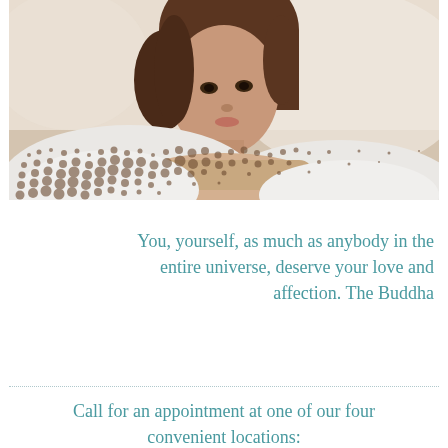[Figure (photo): A young woman with brown hair lying on her side, resting her chin on her arms, looking thoughtfully to the side. The lower portion of the image has a decorative halftone dot pattern overlay in brown/grey tones.]
You, yourself, as much as anybody in the entire universe, deserve your love and affection. The Buddha
Call for an appointment at one of our four convenient locations: